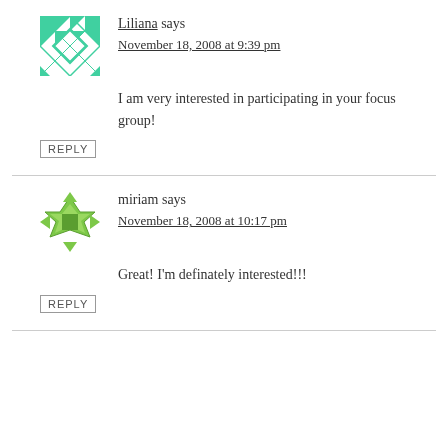[Figure (illustration): Teal geometric avatar with snowflake/pinwheel pattern for user Liliana]
Liliana says
November 18, 2008 at 9:39 pm
I am very interested in participating in your focus group!
REPLY
[Figure (illustration): Green geometric avatar with diamond/pinwheel pattern for user miriam]
miriam says
November 18, 2008 at 10:17 pm
Great! I'm definately interested!!!
REPLY